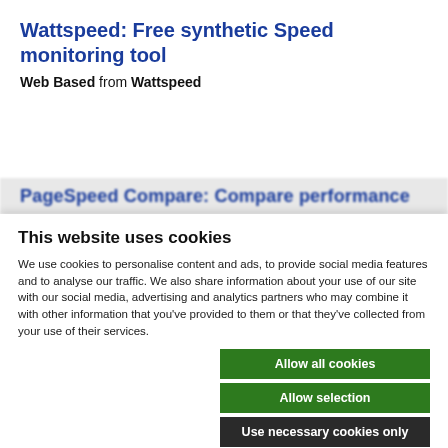Wattspeed: Free synthetic Speed monitoring tool
Web Based from Wattspeed
PageSpeed Compare: Compare performance
This website uses cookies
We use cookies to personalise content and ads, to provide social media features and to analyse our traffic. We also share information about your use of our site with our social media, advertising and analytics partners who may combine it with other information that you've provided to them or that they've collected from your use of their services.
Allow all cookies
Allow selection
Use necessary cookies only
Necessary  Preferences  Statistics  Marketing  Show details